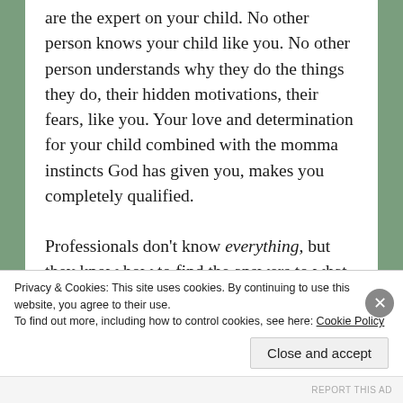Despite how you feel, you are the professional. You are the expert on your child. No other person knows your child like you. No other person understands why they do the things they do, their hidden motivations, their fears, like you. Your love and determination for your child combined with the momma instincts God has given you, makes you completely qualified.
Professionals don't know everything, but they know how to find the answers to what they need to know. Enjoy the excitement of learning with your children and go to God because He created all things. He knows things about your children that
Privacy & Cookies: This site uses cookies. By continuing to use this website, you agree to their use.
To find out more, including how to control cookies, see here: Cookie Policy
Close and accept